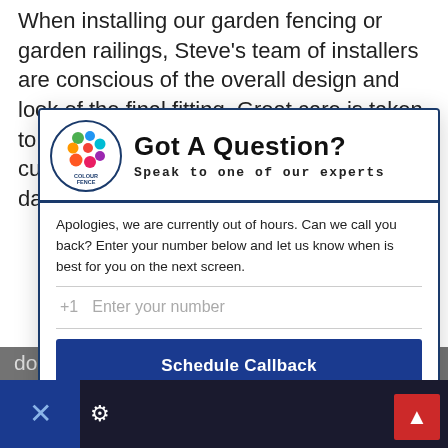When installing our garden fencing or garden railings, Steve's team of installers are conscious of the overall design and look of the final fitting. Great care is taken to discuss each design point with the customer prior to installation and on the day(s) of the work being
[Figure (screenshot): A chat popup widget with the ColourFence logo, title 'Got A Question? Speak to one of our experts', a callback request form showing an out-of-hours message, phone number input field with +1 prefix, and a 'Schedule Callback' button]
what a m have done. The installers worked really hard. They stopped from coming to going home but did like their brews. I would certainly